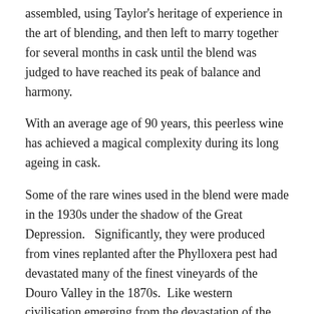assembled, using Taylor's heritage of experience in the art of blending, and then left to marry together for several months in cask until the blend was judged to have reached its peak of balance and harmony.
With an average age of 90 years, this peerless wine has achieved a magical complexity during its long ageing in cask.
Some of the rare wines used in the blend were made in the 1930s under the shadow of the Great Depression.   Significantly, they were produced from vines replanted after the Phylloxera pest had devastated many of the finest vineyards of the Douro Valley in the 1870s.  Like western civilisation emerging from the devastation of the Great War, this immortal wine symbolises the recovery of the Douro vineyards from the greatest scourge ever to hit the world of wine.